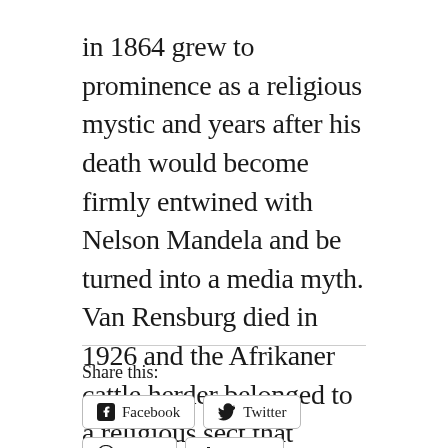in 1864 grew to prominence as a religious mystic and years after his death would become firmly entwined with Nelson Mandela and be turned into a media myth. Van Rensburg died in 1926 and the Afrikaner cattle herder belonged to a religious sect that specialized in “visions.” “Siener” became the nickname and title of the man christened Nicolaas Pieter Johannes Janse van Rensburg.
Share this:
Facebook
Twitter
Reddit
Tumblr
LinkedIn